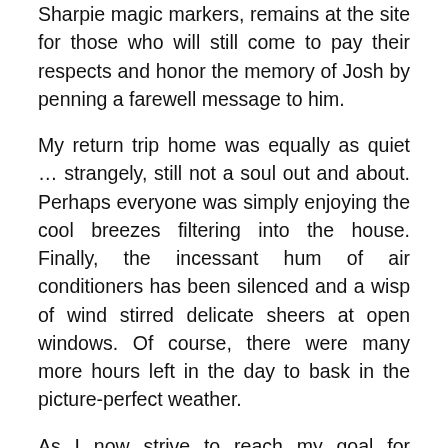Sharpie magic markers, remains at the site for those who will still come to pay their respects and honor the memory of Josh by penning a farewell message to him.
My return trip home was equally as quiet … strangely, still not a soul out and about. Perhaps everyone was simply enjoying the cool breezes filtering into the house. Finally, the incessant hum of air conditioners has been silenced and a wisp of wind stirred delicate sheers at open windows. Of course, there were many more hours left in the day to bask in the picture-perfect weather.
As I now strive to reach my goal for yearend miles, today's extra-long walk will help get me closer to that goal. I realize that the days are getting shorter and I have less time to get my usual daily three to four miles accomplished before I start work. Unless we are blessed with a warm Winter, in all likelihood it is to spend about the...